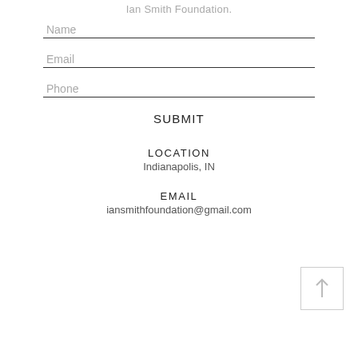Ian Smith Foundation.
Name
Email
Phone
SUBMIT
LOCATION
Indianapolis, IN
EMAIL
iansmithfoundation@gmail.com